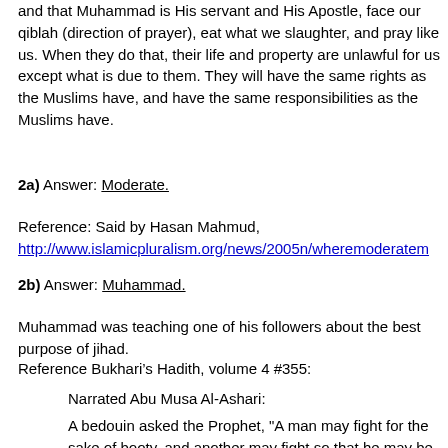and that Muhammad is His servant and His Apostle, face our qiblah (direction of prayer), eat what we slaughter, and pray like us. When they do that, their life and property are unlawful for us except what is due to them. They will have the same rights as the Muslims have, and have the same responsibilities as the Muslims have.
2a) Answer: Moderate.
Reference: Said by Hasan Mahmud, http://www.islamicpluralism.org/news/2005n/wheremoderatem
2b) Answer: Muhammad.
Muhammad was teaching one of his followers about the best purpose of jihad.
Reference Bukhari’s Hadith, volume 4 #355:
Narrated Abu Musa Al-Ashari:
A bedouin asked the Prophet, "A man may fight for the sake of booty, and another may fight so that he may be mentioned by the people, and a third may fight to show his position (i.e. bravery);